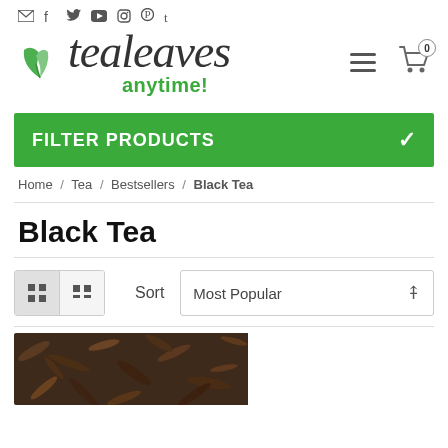Social icons: email, facebook, twitter, youtube, instagram, pinterest, tumblr
[Figure (logo): Tealeaves Anytime logo with green leaf graphic and script text]
FILTER PRODUCTS
Home / Tea / Bestsellers / Black Tea
Black Tea
Sort  Most Popular
[Figure (photo): Close-up photo of dried black tea leaves]